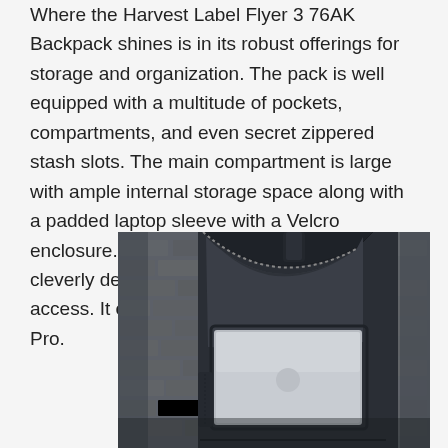Where the Harvest Label Flyer 3 76AK Backpack shines is in its robust offerings for storage and organization. The pack is well equipped with a multitude of pockets, compartments, and even secret zippered stash slots. The main compartment is large with ample internal storage space along with a padded laptop sleeve with a Velcro enclosure. The padded laptop sleeve is cleverly designed to fold down for easy access. It can fit up to a 16-inch MacBook Pro.
[Figure (photo): Photo of an open dark navy backpack with a silver/grey laptop partially inserted into the padded sleeve compartment, against a grey brick wall background.]